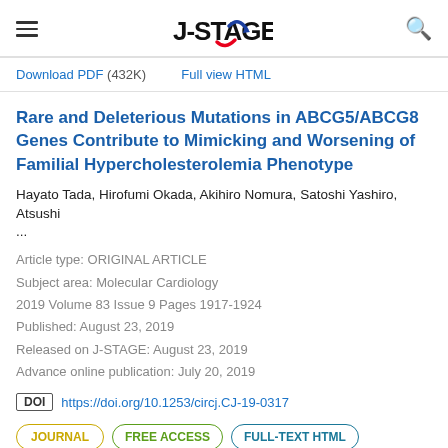J-STAGE
Download PDF (432K)   Full view HTML
Rare and Deleterious Mutations in ABCG5/ABCG8 Genes Contribute to Mimicking and Worsening of Familial Hypercholesterolemia Phenotype
Hayato Tada, Hirofumi Okada, Akihiro Nomura, Satoshi Yashiro, Atsushi ...
Article type: ORIGINAL ARTICLE
Subject area: Molecular Cardiology
2019 Volume 83 Issue 9 Pages 1917-1924
Published: August 23, 2019
Released on J-STAGE: August 23, 2019
Advance online publication: July 20, 2019
DOI https://doi.org/10.1253/circj.CJ-19-0317
JOURNAL   FREE ACCESS   FULL-TEXT HTML